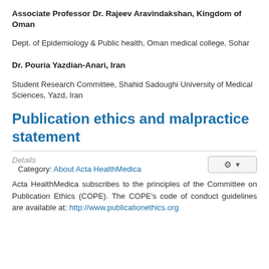Associate Professor Dr. Rajeev Aravindakshan, Kingdom of Oman
Dept. of Epidemiology & Public health, Oman medical college, Sohar
Dr. Pouria Yazdian-Anari, Iran
Student Research Committee, Shahid Sadoughi University of Medical Sciences, Yazd, Iran
Publication ethics and malpractice statement
Details
Category: About Acta HealthMedica
Acta HealthMedica subscribes to the principles of the Committee on Publication Ethics (COPE). The COPE's code of conduct guidelines are available at: http://www.publicationethics.org